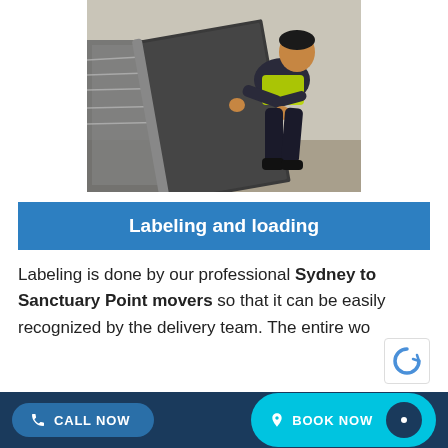[Figure (photo): A mover in dark uniform with yellow hi-vis vest handling a large wrapped furniture item, leaning over it in a room with grey walls and floor. Wrapped items visible in background.]
Labeling and loading
Labeling is done by our professional Sydney to Sanctuary Point movers so that it can be easily recognized by the delivery team. The entire wo
CALL NOW   BOOK NOW